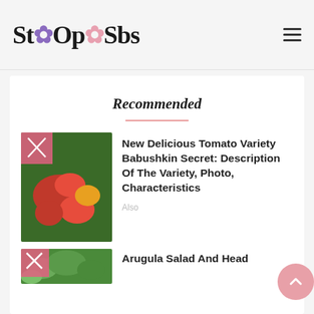StOpSbs (logo with flower icons)
Recommended
[Figure (photo): Thumbnail image of red tomatoes on vine with green foliage, with a pink badge overlay in top-left corner]
New Delicious Tomato Variety Babushkin Secret: Description Of The Variety, Photo, Characteristics
Also
[Figure (photo): Thumbnail image of arugula salad greens with a pink badge overlay in top-left corner]
Arugula Salad And Head